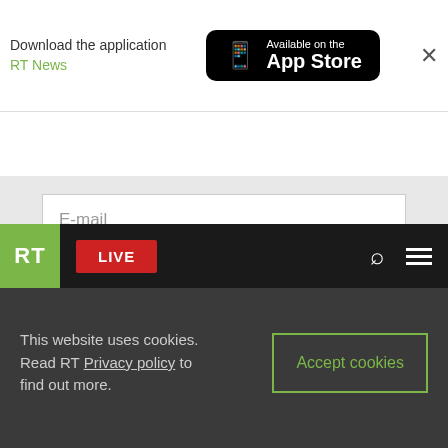[Figure (screenshot): RT website screenshot showing download app banner, navigation bar, email subscription form, and cookie consent bar]
Download the application RT News
[Figure (logo): Available on the App Store button with phone icon]
[Figure (logo): RT logo green square with white RT text]
LIVE
E-mail
We offer you the possibility to receive RT's news highlights every Monday, Wednesday and Friday by email.
Subscribe
This website uses cookies. Read RT Privacy policy to find out more.
Accept cookies